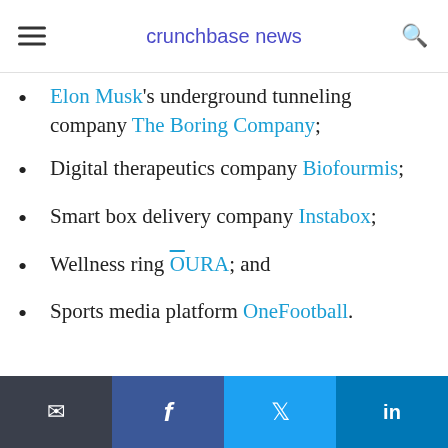crunchbase news
Elon Musk's underground tunneling company The Boring Company;
Digital therapeutics company Biofourmis;
Smart box delivery company Instabox;
Wellness ring ŌURA; and
Sports media platform OneFootball.
Email | Facebook | Twitter | LinkedIn